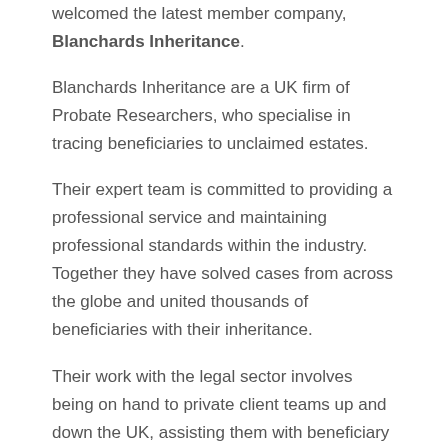welcomed the latest member company, Blanchards Inheritance.
Blanchards Inheritance are a UK firm of Probate Researchers, who specialise in tracing beneficiaries to unclaimed estates.
Their expert team is committed to providing a professional service and maintaining professional standards within the industry. Together they have solved cases from across the globe and united thousands of beneficiaries with their inheritance.
Their work with the legal sector involves being on hand to private client teams up and down the UK, assisting them with beneficiary tracing and family tree services.
Whilst not the only company to do this, it could be said…